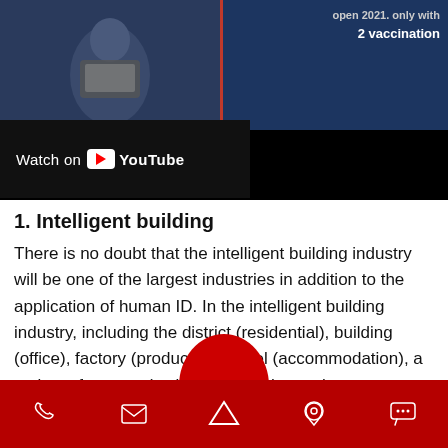[Figure (screenshot): YouTube video thumbnail showing a person with a phone on the left and a blue infographic about vaccination on the right, with a 'Watch on YouTube' overlay bar.]
1. Intelligent building
There is no doubt that the intelligent building industry will be one of the largest industries in addition to the application of human ID. In the intelligent building industry, including the district (residential), building (office), factory (production), hotel (accommodation), a variety of venues (activities), and these places are where most citizens work and study, the most number of times in and out, and therefore the greatest demand for face access control.
[Figure (other): Red bottom navigation bar with icons for phone, email, home/up arrow, location pin, and chat.]